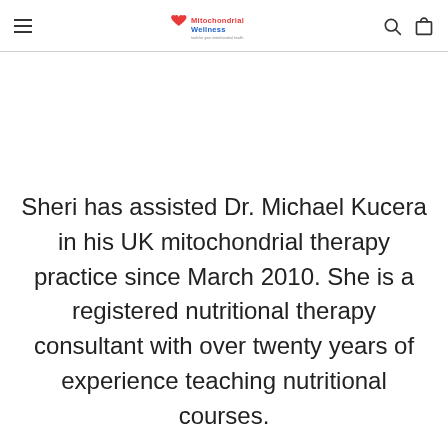Mitochondrial Wellness [logo with heart icon]
Sheri has assisted Dr. Michael Kucera in his UK mitochondrial therapy practice since March 2010. She is a registered nutritional therapy consultant with over twenty years of experience teaching nutritional courses.